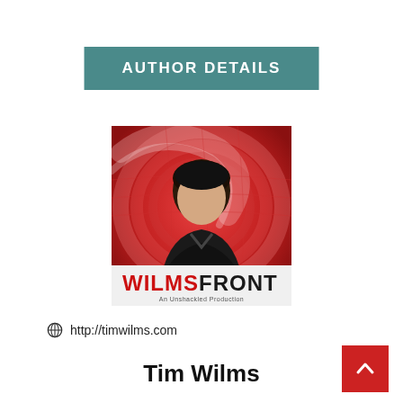AUTHOR DETAILS
[Figure (photo): Author photo with WilmsFront logo overlay — man with dark hair and black jacket against a red swirling background. Text reads WILMSFR ONT An Unshackled Production.]
http://timwilms.com
Tim Wilms